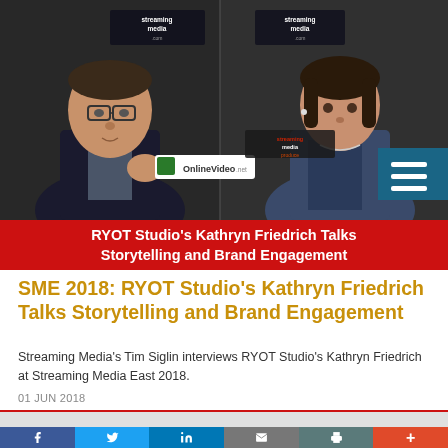[Figure (photo): Video thumbnail showing two people in conversation at a Streaming Media event, with a dark branded backdrop. A red banner overlay reads 'RYOT Studio's Kathryn Friedrich Talks Storytelling and Brand Engagement'. A teal menu icon is visible in the top-right corner.]
SME 2018: RYOT Studio's Kathryn Friedrich Talks Storytelling and Brand Engagement
Streaming Media's Tim Siglin interviews RYOT Studio's Kathryn Friedrich at Streaming Media East 2018.
01 JUN 2018